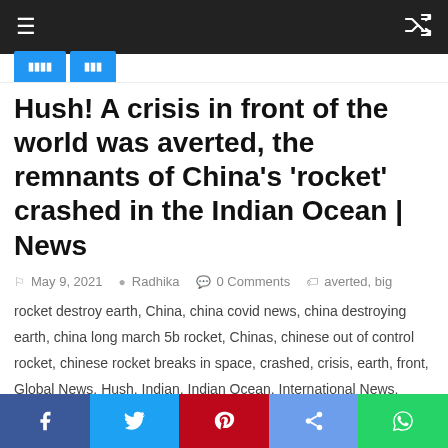Navigation bar with hamburger menu and shuffle icon
Hush! A crisis in front of the world was averted, the remnants of China's 'rocket' crashed in the Indian Ocean | News
May 9, 2021   Radhika   0 Comments   averted, big rocket destroy earth, China, china covid news, china destroying earth, china long march 5b rocket, Chinas, chinese out of control rocket, chinese rocket breaks in space, crashed, crisis, earth, front, Global News, Hush, Indian, Indian Ocean, International News, Jonathan McDowell, latest news, live updates, Long March 5B, Marathi Batmya, Marathi news, New space station, news, ocean, remnants, ROCKET, rocket breaks destroy earth, rocket out of control in space, Tiangong, Trending news, World
Social share bar: Facebook, Twitter, Pinterest, Share, WhatsApp